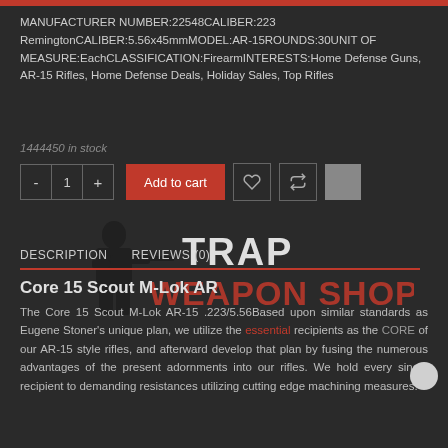MANUFACTURER NUMBER:22548CALIBER:223 RemingtonCALIBER:5.56x45mmMODEL:AR-15ROUNDS:30UNIT OF MEASURE:EachCLASSIFICATION:FirearmINTERESTS:Home Defense Guns, AR-15 Rifles, Home Defense Deals, Holiday Sales, Top Rifles
1444450 in stock
[Figure (logo): TRAP WEAPON SHOP watermark with silhouette of a person holding a gun]
DESCRIPTION   REVIEWS (0)
Core 15 Scout M-Lok AR
The Core 15 Scout M-Lok AR-15 .223/5.56Based upon similar standards as Eugene Stoner's unique plan, we utilize the essential recipients as the CORE of our AR-15 style rifles, and afterward develop that plan by fusing the numerous advantages of the present adornments into our rifles. We hold every single recipient to demanding resistances utilizing cutting edge machining measures.